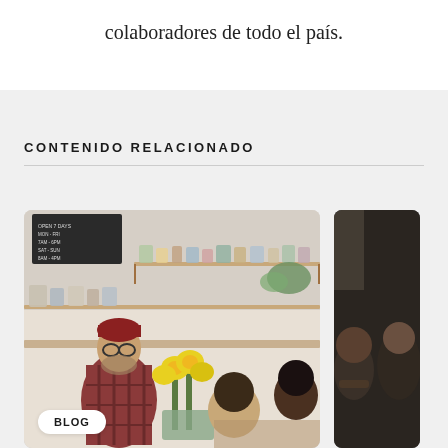colaboradores de todo el país.
CONTENIDO RELACIONADO
[Figure (photo): Photo of a cafe barista with red beanie and glasses smiling at customers across a counter, with shelves of jars in background and yellow flowers in foreground. A 'BLOG' badge label is overlaid at the bottom left.]
[Figure (photo): Partial view of a second card showing people in a dark interior setting.]